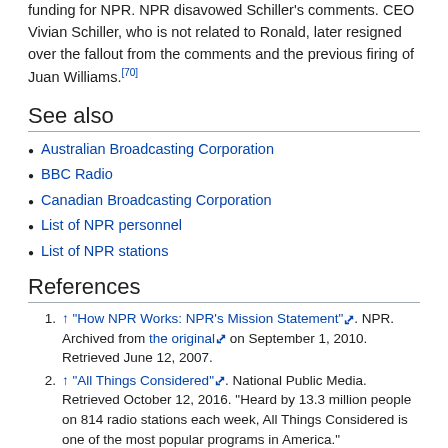funding for NPR. NPR disavowed Schiller's comments. CEO Vivian Schiller, who is not related to Ronald, later resigned over the fallout from the comments and the previous firing of Juan Williams.[70]
See also
Australian Broadcasting Corporation
BBC Radio
Canadian Broadcasting Corporation
List of NPR personnel
List of NPR stations
References
1. ↑ "How NPR Works: NPR's Mission Statement". NPR. Archived from the original on September 1, 2010. Retrieved June 12, 2007.
2. ↑ "All Things Considered". National Public Media. Retrieved October 12, 2016. "Heard by 13.3 million people on 814 radio stations each week, All Things Considered is one of the most popular programs in America."
3. ↑ Mitchell, Jack W. (2005). Listener supported: the culture and history of public radio. Greenwood Publishing Group. p. 175.